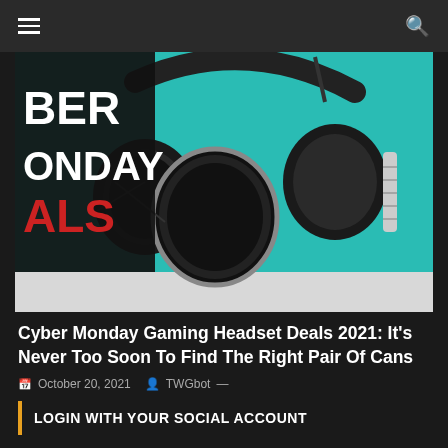Navigation bar with hamburger menu and search icon
[Figure (photo): Gaming headset (SteelSeries Arctis) in black with teal/cyan background, overlaid with Cyber Monday Deals text in white and red on black background on the left side]
Cyber Monday Gaming Headset Deals 2021: It's Never Too Soon To Find The Right Pair Of Cans
October 20, 2021   TWGbot —
LOGIN WITH YOUR SOCIAL ACCOUNT